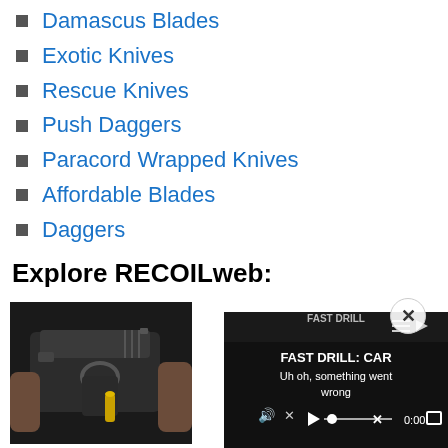Damascus Blades
Exotic Knives
Rescue Knives
Push Daggers
Paracord Wrapped Knives
Affordable Blades
Daggers
Explore RECOILweb:
[Figure (photo): Hands holding a small black pistol with a gold-tipped cartridge]
[Figure (screenshot): Video player showing 'FAST DRILL: CAR' with error message 'Uh oh, something went wrong' and playback controls showing 0:00]